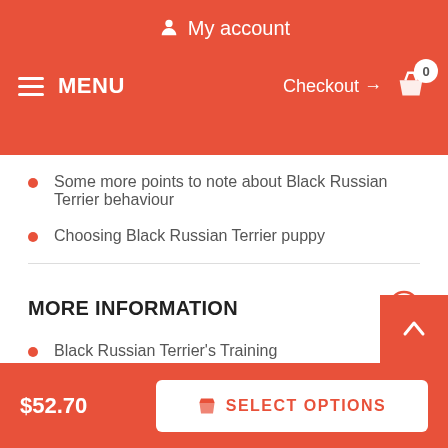My account | MENU | Checkout → 0
Some more points to note about Black Russian Terrier behaviour
Choosing Black Russian Terrier puppy
MORE INFORMATION
Black Russian Terrier's Training
Puppy in the New Home
Black Russian Terrier
$52.70 | SELECT OPTIONS